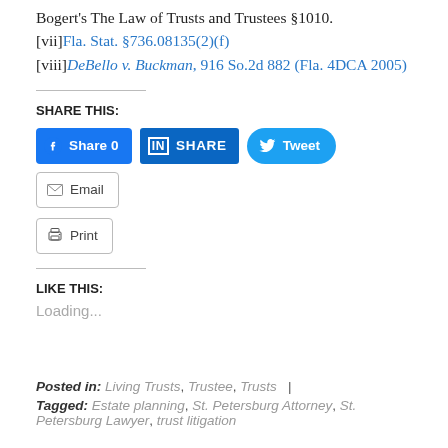[vii] Fla. Stat. §736.08135(2)(f)
[viii] DeBello v. Buckman, 916 So.2d 882 (Fla. 4DCA 2005)
SHARE THIS:
[Figure (other): Social share buttons: Facebook Share 0, LinkedIn SHARE, Twitter Tweet, Email, Print]
LIKE THIS:
Loading...
Posted in: Living Trusts, Trustee, Trusts |
Tagged: Estate planning, St. Petersburg Attorney, St. Petersburg Lawyer, trust litigation